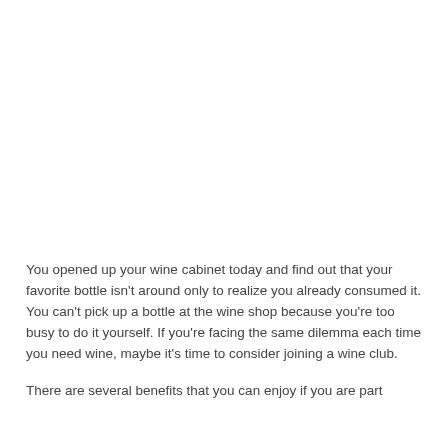You opened up your wine cabinet today and find out that your favorite bottle isn't around only to realize you already consumed it. You can't pick up a bottle at the wine shop because you're too busy to do it yourself. If you're facing the same dilemma each time you need wine, maybe it's time to consider joining a wine club.
There are several benefits that you can enjoy if you are part